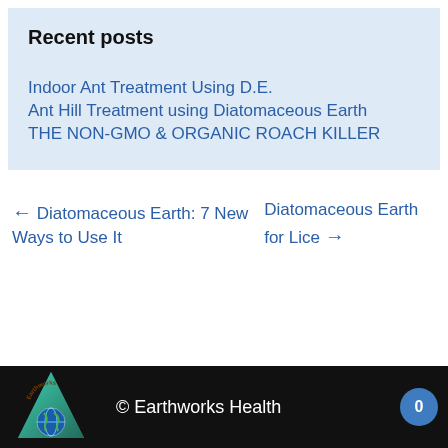Recent posts
Indoor Ant Treatment Using D.E.
Ant Hill Treatment using Diatomaceous Earth
THE NON-GMO & ORGANIC ROACH KILLER
← Diatomaceous Earth: 7 New Ways to Use It
Diatomaceous Earth for Lice →
© Earthworks Health